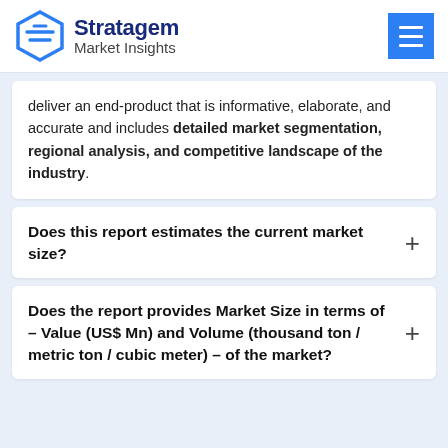Stratagem Market Insights
deliver an end-product that is informative, elaborate, and accurate and includes detailed market segmentation, regional analysis, and competitive landscape of the industry.
Does this report estimates the current market size?
Does the report provides Market Size in terms of – Value (US$ Mn) and Volume (thousand ton / metric ton / cubic meter) – of the market?